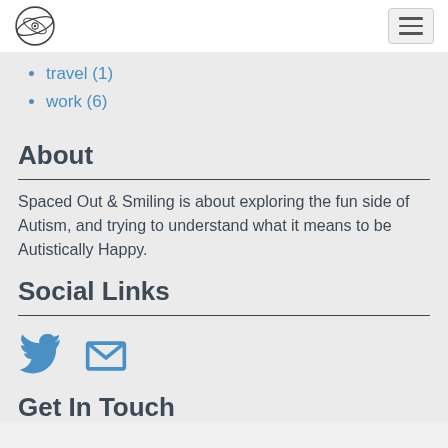Spaced Out & Smiling logo and navigation
travel (1)
work (6)
About
Spaced Out & Smiling is about exploring the fun side of Autism, and trying to understand what it means to be Autistically Happy.
Social Links
[Figure (illustration): Twitter bird icon and email envelope icon in blue]
Get In Touch